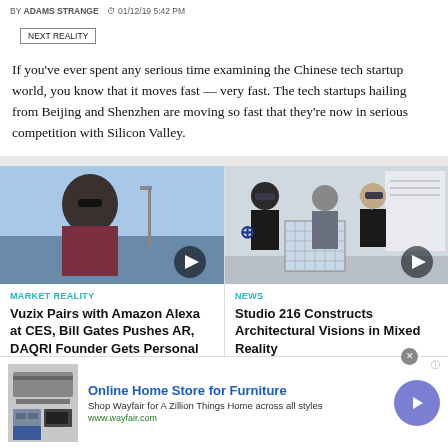BY ADAMS STRANGE  •  01/12/19 5:42 PM
NEXT REALITY
If you've ever spent any serious time examining the Chinese tech startup world, you know that it moves fast — very fast. The tech startups hailing from Beijing and Shenzhen are moving so fast that they're now in serious competition with Silicon Valley.
[Figure (photo): Man in sunglasses and beanie hat outdoors with a play button overlay]
MARKET REALITY
Vuzix Pairs with Amazon Alexa at CES, Bill Gates Pushes AR, DAQRI Founder Gets Personal
[Figure (photo): People wearing AR headsets looking at an architectural model with a play button overlay]
NEWS
Studio 216 Constructs Architectural Visions in Mixed Reality
[Figure (infographic): Advertisement: Online Home Store for Furniture - Wayfair ad with furniture image and arrow button]